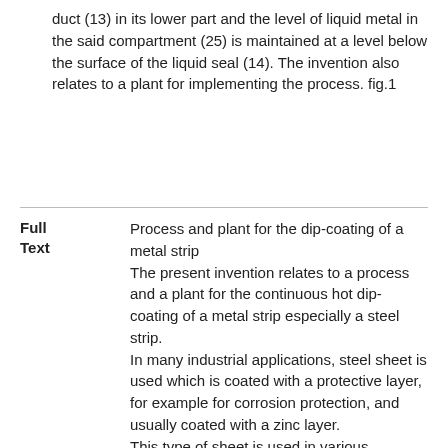duct (13) in its lower part and the level of liquid metal in the said compartment (25) is maintained at a level below the surface of the liquid seal (14). The invention also relates to a plant for implementing the process. fig.1
Full Text
Process and plant for the dip-coating of a metal strip The present invention relates to a process and a plant for the continuous hot dip-coating of a metal strip especially a steel strip. In many industrial applications, steel sheet is used which is coated with a protective layer, for example for corrosion protection, and usually coated with a zinc layer. This type of sheet is used in various industries to produce all kinds of parts, in particular visual parts - To obtain this kind of sheet, continuous dip-coating